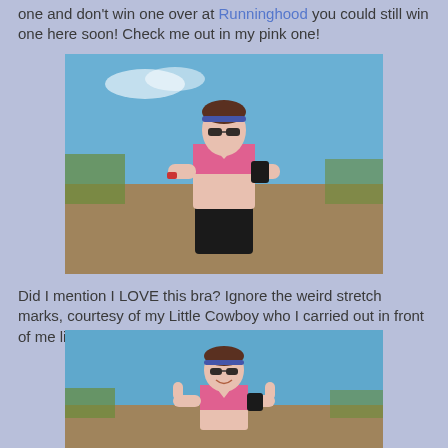one and don't win one over at Runninghood you could still win one here soon! Check me out in my pink one!
[Figure (photo): Woman in pink sports bra and black shorts standing outdoors in a field with blue sky, posing with hands on hips showing toned midsection, wearing sunglasses and a blue headband, with a black armband on her right arm and a watch on her left wrist.]
Did I mention I LOVE this bra? Ignore the weird stretch marks, courtesy of my Little Cowboy who I carried out in front of me like a basketball when I was pregnant.
[Figure (photo): Same woman in pink sports bra outdoors in a field with blue sky, giving two thumbs up and smiling, wearing sunglasses and a blue headband, with a black armband on her right arm and a watch on her left wrist.]